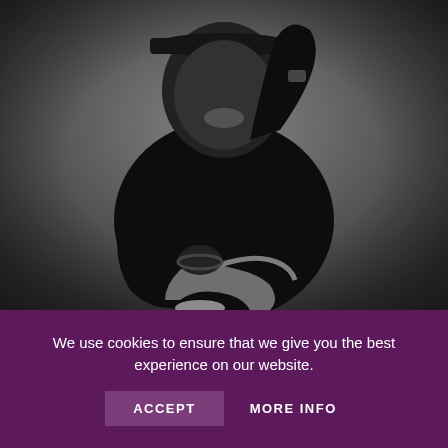[Figure (photo): Black and white photograph of a jazz musician, smiling and wearing a black t-shirt and cap, holding a trumpet with one hand resting on it and the other raised near his head.]
We use cookies to ensure that we give you the best experience on our website.
ACCEPT   MORE INFO